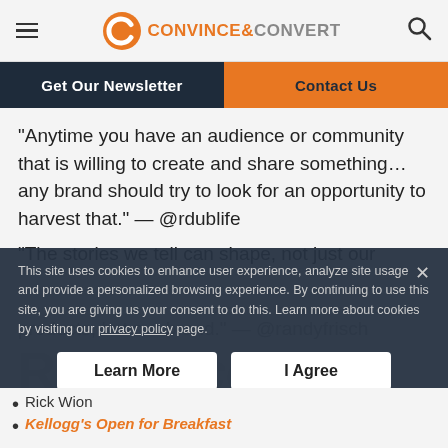Convince & Convert — navigation header with hamburger menu, logo, and search icon
Get Our Newsletter | Contact Us
“Anytime you have an audience or community that is willing to create and share something… any brand should try to look for an opportunity to harvest that.” — @rdublife
“The stories we tell can shape, not just our products, but our brand.” — @randyfrisch
Resources
This site uses cookies to enhance user experience, analyze site usage and provide a personalized browsing experience. By continuing to use this site, you are giving us your consent to do this. Learn more about cookies by visiting our privacy policy page.
Rick Wion
Kellogg’s Open for Breakfast